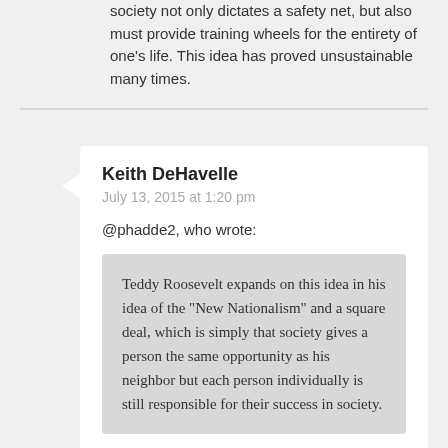society not only dictates a safety net, but also must provide training wheels for the entirety of one's life. This idea has proved unsustainable many times.
Keith DeHavelle
July 13, 2015 at 1:20 pm
@phadde2, who wrote:
Teddy Roosevelt expands on this idea in his idea of the "New Nationalism" and a square deal, which is simply that society gives a person the same opportunity as his neighbor but each person individually is still responsible for their success in society.